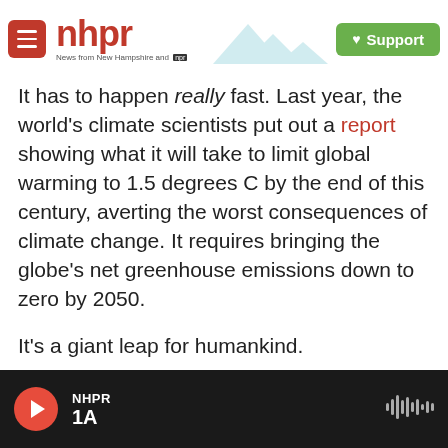nhpr — News from New Hampshire and NPR | Support
It has to happen really fast. Last year, the world's climate scientists put out a report showing what it will take to limit global warming to 1.5 degrees C by the end of this century, averting the worst consequences of climate change. It requires bringing the globe's net greenhouse emissions down to zero by 2050.
It's a giant leap for humankind.
So Sila Kiliccote and I take that leap. Sitting in her kitchen, with solar panels overhead and an electric car parked outside, we pretend that it has happened. It's 2050 and we've stopped climate
NHPR 1A